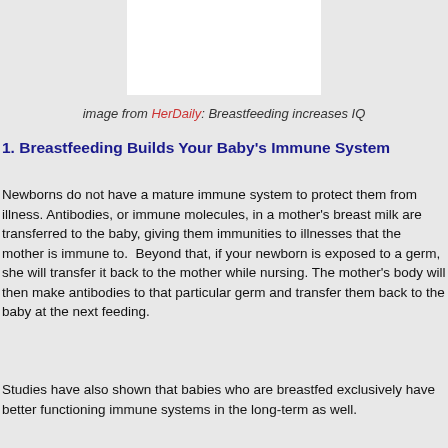[Figure (photo): White rectangular image placeholder centered near the top of the page]
image from HerDaily: Breastfeeding increases IQ
1. Breastfeeding Builds Your Baby's Immune System
Newborns do not have a mature immune system to protect them from illness. Antibodies, or immune molecules, in a mother's breast milk are transferred to the baby, giving them immunities to illnesses that the mother is immune to.  Beyond that, if your newborn is exposed to a germ, she will transfer it back to the mother while nursing. The mother's body will then make antibodies to that particular germ and transfer them back to the baby at the next feeding.
Studies have also shown that babies who are breastfed exclusively have better functioning immune systems in the long-term as well.